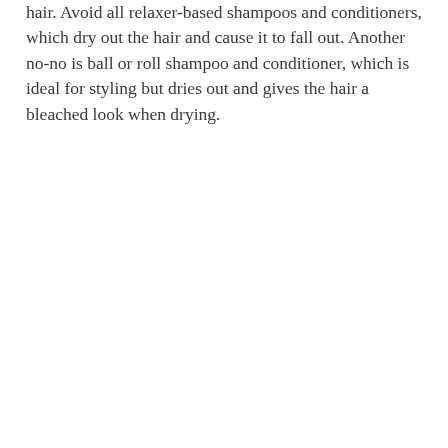hair. Avoid all relaxer-based shampoos and conditioners, which dry out the hair and cause it to fall out. Another no-no is ball or roll shampoo and conditioner, which is ideal for styling but dries out and gives the hair a bleached look when drying.